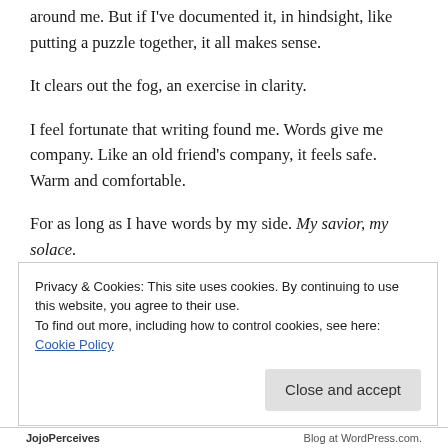around me. But if I've documented it, in hindsight, like putting a puzzle together, it all makes sense.
It clears out the fog, an exercise in clarity.
I feel fortunate that writing found me. Words give me company. Like an old friend's company, it feels safe. Warm and comfortable.
For as long as I have words by my side. My savior, my solace.
Loading
Privacy & Cookies: This site uses cookies. By continuing to use this website, you agree to their use.
To find out more, including how to control cookies, see here: Cookie Policy
JojoPerceives    Blog at WordPress.com.